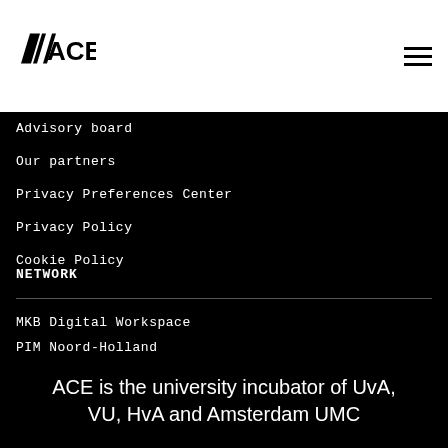ACE [logo] [hamburger menu]
Advisory board
Our partners
Privacy Preferences Center
Privacy Policy
Cookie Policy
NETWORK
MKB Digital Workspace
PIM Noord-Holland
ACE is the university incubator of UvA, VU, HvA and Amsterdam UMC